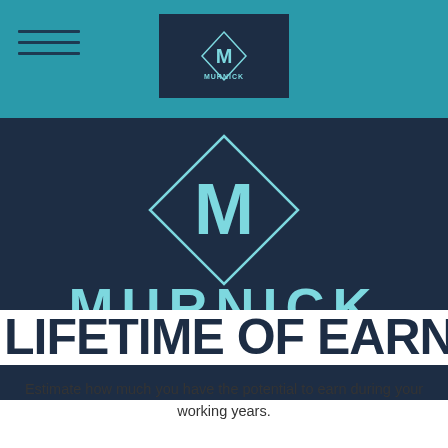[Figure (logo): Murnick Financial Group logo in navigation bar - small version on teal/cyan background]
[Figure (logo): Murnick Financial Group large logo on dark navy background - diamond shape with M letter, MURNICK text, FINANCIAL GROUP subtext]
LIFETIME OF EARNINGS
Estimate how much you have the potential to earn during your working years.